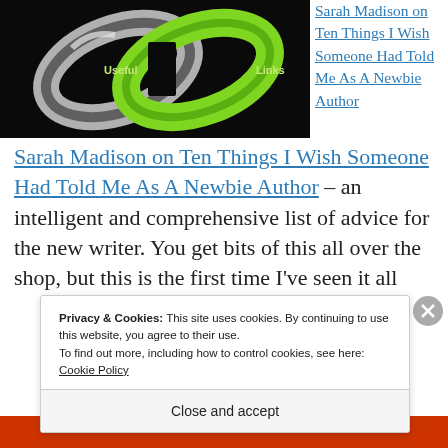[Figure (photo): Two interlocked chain links, one silver/dark and one neon green, on a black background. The silver link is labeled 'Useful' and the green link is labeled 'Links'.]
Sarah Madison on Ten Things I Wish Someone Had Told Me As A Newbie Author – an intelligent and comprehensive list of advice for the new writer. You get bits of this all over the shop, but this is the first time I've seen it all
Privacy & Cookies: This site uses cookies. By continuing to use this website, you agree to their use.
To find out more, including how to control cookies, see here: Cookie Policy
Close and accept